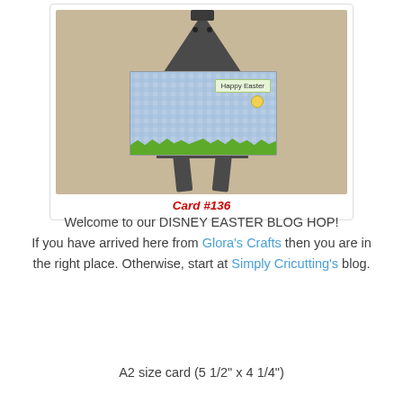[Figure (photo): A handmade Happy Easter greeting card featuring Minnie Mouse lying down with a green bow, surrounded by Easter eggs and a basket, displayed on a small dark gray wooden easel against a tan/beige background. Card has a blue gingham pattern background.]
Card #136
Welcome to our DISNEY EASTER BLOG HOP! If you have arrived here from Glora's Crafts then you are in the right place. Otherwise, start at Simply Cricutting's blog.
A2 size card (5 1/2" x 4 1/4")